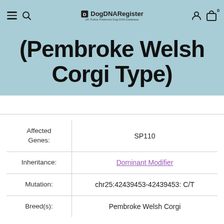DogDNARegister — UK Police Preferred Dog DNA Database
(Pembroke Welsh Corgi Type)
| Field | Value |
| --- | --- |
| Affected Genes: | SP110 |
| Inheritance: | Dominant Modifier |
| Mutation: | chr25:42439453-42439453: C/T |
| Breed(s): | Pembroke Welsh Corgi |